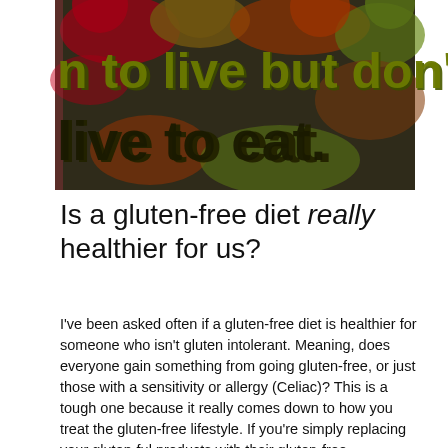[Figure (photo): A colorful food photography image with bold text overlay reading 'eat to live but don't live to eat', showing fruits and vegetables with dark and olive green lettering.]
Is a gluten-free diet really healthier for us?
I've been asked often if a gluten-free diet is healthier for someone who isn't gluten intolerant. Meaning, does everyone gain something from going gluten-free, or just those with a sensitivity or allergy (Celiac)? This is a tough one because it really comes down to how you treat the gluten-free lifestyle. If you're simply replacing your gluten-ful products with their gluten-free counterparts, than my answer is NO, it's not a healthier diet.